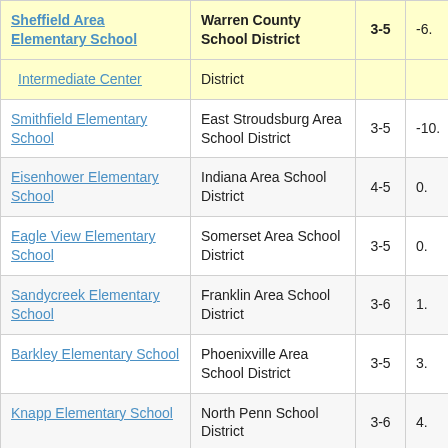| School | District | Grades | Value |
| --- | --- | --- | --- |
| Sheffield Area Elementary School | Warren County School District | 3-5 | -6. |
| Intermediate Center | District |  |  |
| Smithfield Elementary School | East Stroudsburg Area School District | 3-5 | -10. |
| Eisenhower Elementary School | Indiana Area School District | 4-5 | 0. |
| Eagle View Elementary School | Somerset Area School District | 3-5 | 0. |
| Sandycreek Elementary School | Franklin Area School District | 3-6 | 1. |
| Barkley Elementary School | Phoenixville Area School District | 3-5 | 3. |
| Knapp Elementary School | North Penn School District | 3-6 | 4. |
| Hatfield Elementary... | North P... |  |  |